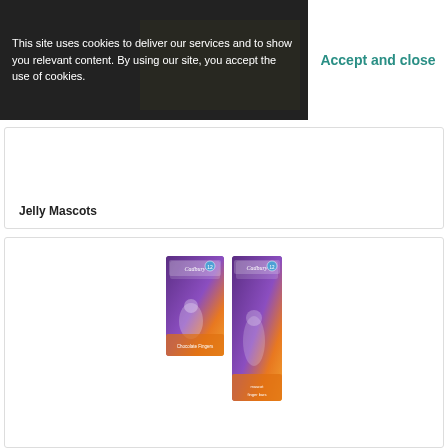This site uses cookies to deliver our services and to show you relevant content. By using our site, you accept the use of cookies.
Accept and close
[Figure (photo): Cookie consent banner overlaying a product image]
Jelly Mascots
[Figure (photo): Two Cadbury chocolate bar wrappers featuring London 2012 Olympic mascots Wenlock and Mandeville, one smaller pack and one taller pack, both with purple and orange branding]